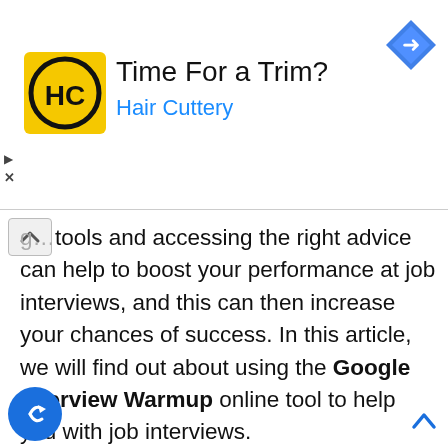[Figure (infographic): Advertisement banner for Hair Cuttery: logo with 'HC' in a circle on yellow background, headline 'Time For a Trim?', subtitle 'Hair Cuttery' in blue, and a blue diamond-shaped navigation icon on the right.]
...tools and accessing the right advice can help to boost your performance at job interviews, and this can then increase your chances of success. In this article, we will find out about using the Google Interview Warmup online tool to help you with job interviews.